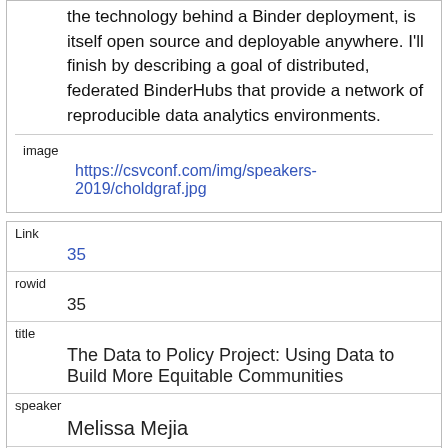the technology behind a Binder deployment, is itself open source and deployable anywhere. I'll finish by describing a goal of distributed, federated BinderHubs that provide a network of reproducible data analytics environments.
| field | value |
| --- | --- |
| image | https://csvconf.com/img/speakers-2019/choldgraf.jpg |
| field | value |
| --- | --- |
| Link | 35 |
| rowid | 35 |
| title | The Data to Policy Project: Using Data to Build More Equitable Communities |
| speaker | Melissa Mejia |
| time | 11:00 AM |